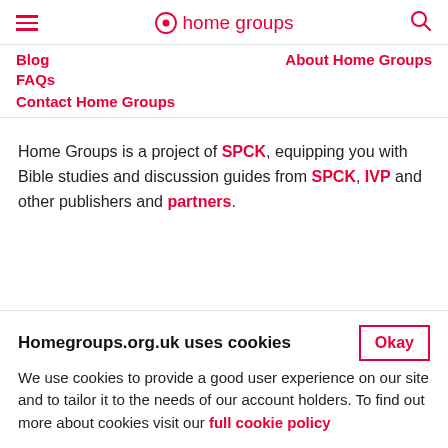home groups
Blog
About Home Groups
FAQs
Contact Home Groups
Home Groups is a project of SPCK, equipping you with Bible studies and discussion guides from SPCK, IVP and other publishers and partners.
Homegroups.org.uk uses cookies
We use cookies to provide a good user experience on our site and to tailor it to the needs of our account holders. To find out more about cookies visit our full cookie policy